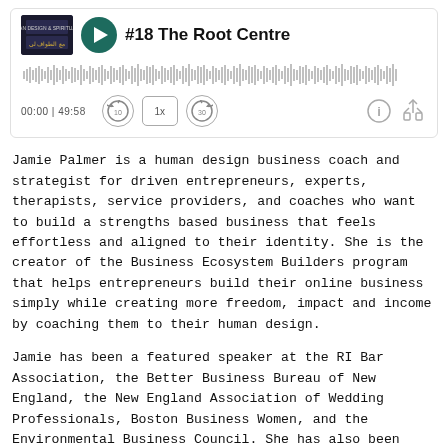[Figure (screenshot): Podcast player widget showing episode #18 The Root Centre with album art, play button, waveform, time display 00:00 | 49:58, and playback controls (skip back 10, 1x speed, skip forward 30, info, share)]
Jamie Palmer is a human design business coach and strategist for driven entrepreneurs, experts, therapists, service providers, and coaches who want to build a strengths based business that feels effortless and aligned to their identity. She is the creator of the Business Ecosystem Builders program that helps entrepreneurs build their online business simply while creating more freedom, impact and income by coaching them to their human design.
Jamie has been a featured speaker at the RI Bar Association, the Better Business Bureau of New England, the New England Association of Wedding Professionals, Boston Business Women, and the Environmental Business Council. She has also been featured in Huffington Post, Popsugar, and Entrepreneur Magazine.